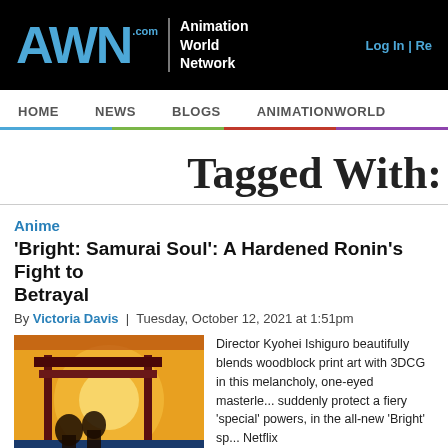AWN .com Animation World Network | Log In | Re...
HOME | NEWS | BLOGS | ANIMATIONWORLD
Tagged With:
Anime
'Bright: Samurai Soul': A Hardened Ronin's Fight to Betrayal
By Victoria Davis | Tuesday, October 12, 2021 at 1:51pm
[Figure (screenshot): Anime scene from Bright: Samurai Soul showing figures near a torii gate with warm sunset lighting]
Director Kyohei Ishiguro beautifully blends woodblock print art with 3DCG in this melancholy, one-eyed masterless samurai who must suddenly protect a fiery 'special' girl with magical powers, in the all-new 'Bright' spinoff coming to Netflix.